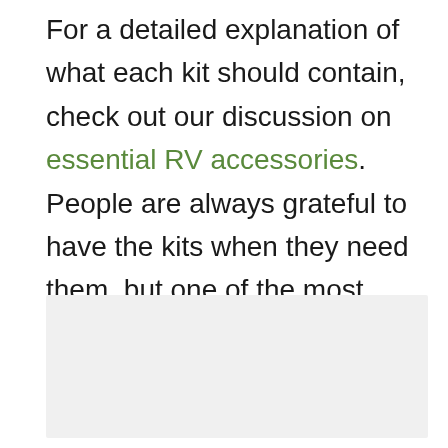For a detailed explanation of what each kit should contain, check out our discussion on essential RV accessories. People are always grateful to have the kits when they need them, but one of the most prominent mistakes even veterans make is not restocking them. It's also wise to create additional kits based on your specific needs, like an emergency diaper bag or pet care kit.
[Figure (other): Placeholder image area below the text block]